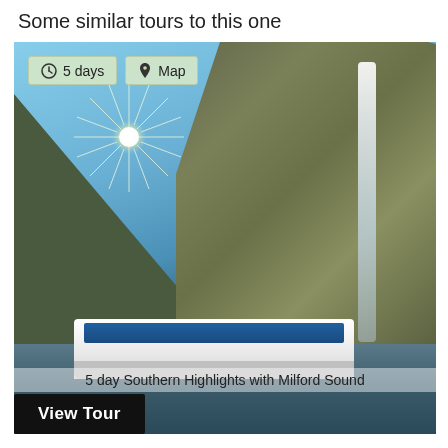Some similar tours to this one
[Figure (photo): Scenic photo of Milford Sound with tall rocky cliffs, a waterfall, bright sun with lens flare, and a cruise ship on the water. Overlaid badges read '5 days' and 'Map'. Caption reads '5 day Southern Highlights with Milford Sound'. A 'View Tour' button is at the bottom left.]